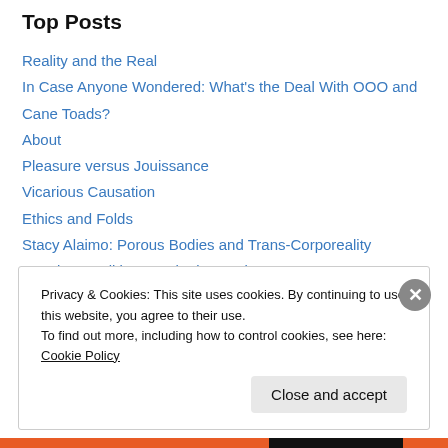Top Posts
Reality and the Real
In Case Anyone Wondered: What's the Deal With OOO and Cane Toads?
About
Pleasure versus Jouissance
Vicarious Causation
Ethics and Folds
Stacy Alaimo: Porous Bodies and Trans-Corporeality
Ranciere, Politics, Aesthetics, and OOO
Realism is not a Synonym for Materialism
Let's Talk About Jouissance, Baby!
Privacy & Cookies: This site uses cookies. By continuing to use this website, you agree to their use. To find out more, including how to control cookies, see here: Cookie Policy
Close and accept